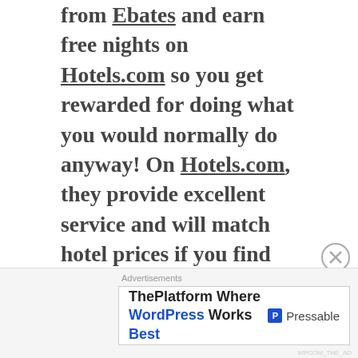from Ebates and earn free nights on Hotels.com so you get rewarded for doing what you would normally do anyway! On Hotels.com, they provide excellent service and will match hotel prices if you find something cheaper elsewhere. If you stay 10 nights, you get 1 free and if you become a gold member (30 stays in 1 year) you get early access to deals and special rates. Also 24/7 service. On Ebates, while the percentage cash back varies depending on the store, you legitimately get cash back on almost every store you would shop online for anyway and get a check every quarter with your savings
Advertisements
ThePlatform Where WordPress Works Best  Pressable